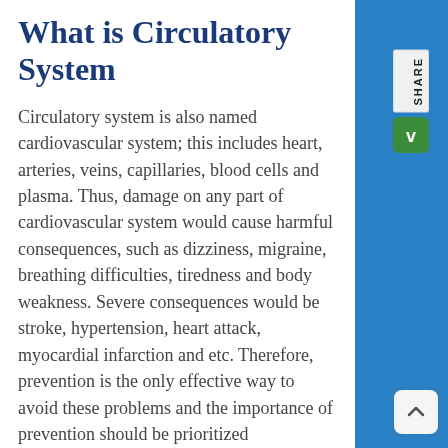What is Circulatory System
Circulatory system is also named cardiovascular system; this includes heart, arteries, veins, capillaries, blood cells and plasma. Thus, damage on any part of cardiovascular system would cause harmful consequences, such as dizziness, migraine, breathing difficulties, tiredness and body weakness. Severe consequences would be stroke, hypertension, heart attack, myocardial infarction and etc. Therefore, prevention is the only effective way to avoid these problems and the importance of prevention should be prioritized